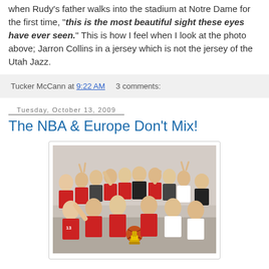when Rudy's father walks into the stadium at Notre Dame for the first time, "this is the most beautiful sight these eyes have ever seen." This is how I feel when I look at the photo above; Jarron Collins in a jersey which is not the jersey of the Utah Jazz.
Tucker McCann at 9:22 AM    3 comments:
Tuesday, October 13, 2009
The NBA & Europe Don't Mix!
[Figure (photo): Group photo of a basketball team in red and white uniforms celebrating in a locker room, holding a trophy, making peace signs and gestures.]